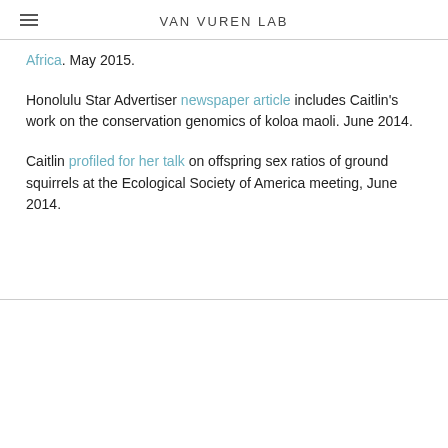VAN VUREN LAB
Africa. May 2015.
Honolulu Star Advertiser newspaper article includes Caitlin's work on the conservation genomics of koloa maoli. June 2014.
Caitlin profiled for her talk on offspring sex ratios of ground squirrels at the Ecological Society of America meeting, June 2014.